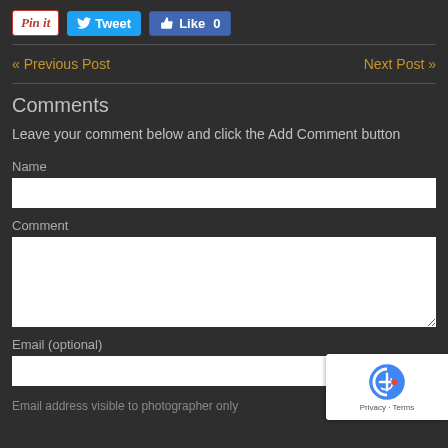[Figure (screenshot): Social share buttons: Pinterest Pin it, Twitter Tweet, Facebook Like 0]
« Previous Post
Next Post »
Comments
Leave your comment below and click the Add Comment button
Name
Comment
Email (optional)
Email address visible to photographer only